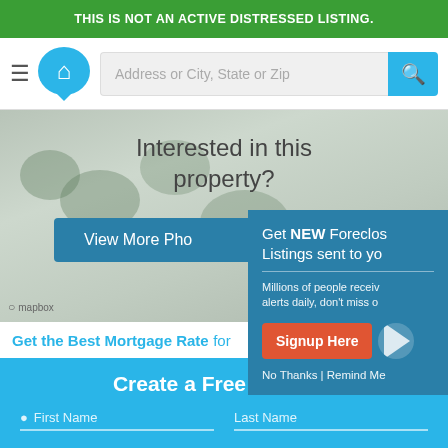THIS IS NOT AN ACTIVE DISTRESSED LISTING.
[Figure (screenshot): Website navigation bar with hamburger menu, house logo, address search bar, and search button]
[Figure (photo): Aerial/satellite map view of a property neighborhood (mapbox)]
Interested in this property?
View More Photos
[Figure (screenshot): Popup modal: Get NEW Foreclosure Listings sent to you. Millions of people receive alerts daily, don't miss out. Signup Here button. No Thanks | Remind Me links.]
Get the Best Mortgage Rate for
Create a Free Account
First Name
Last Name